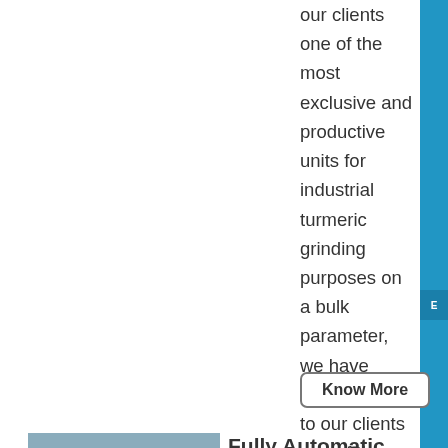our clients one of the most exclusive and productive units for industrial turmeric grinding purposes on a bulk parameter, we have brought forth to our clients one of the most efficient and exclusive kinds of Automatic Turmeric Grinding MachinThese automatic turmeric grinding plants have been excellently designed and fabricated which makes it highly ....
Know More
[Figure (photo): Industrial machinery equipment in a factory setting, showing machines covered with blue tarps or covers in a production facility]
Fully Automatic Spice Plant, Lithotech Food Spice ,
Leveraging on the expertise of our dexterous professionals, we are presenting a premium quality Fully